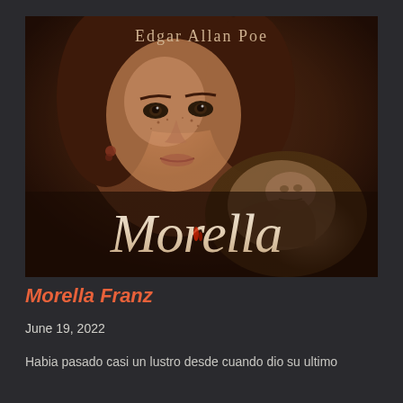[Figure (photo): Book cover for 'Morella' by Edgar Allan Poe. Dark brown/sepia toned image showing a young girl with red hair, freckles, and dark eyes, holding a stone sculpture of a reclining figure. The author name 'Edgar Allan Poe' appears at the top in decorative serif font, and the title 'Morella' appears in large cursive script at the bottom in white/cream color.]
Morella Franz
June 19, 2022
Habia pasado casi un lustro desde cuando dio su ultimo